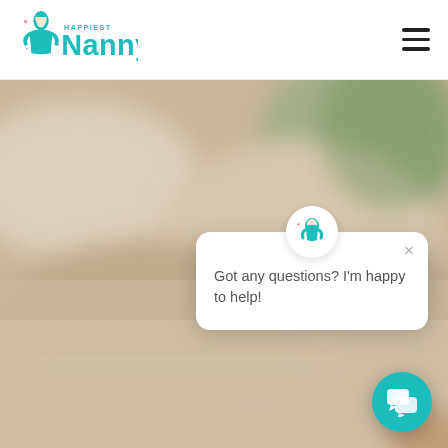[Figure (logo): Happiest Nanny logo with teal text and nanny figure icon with pink hearts]
[Figure (photo): Blurred background photo of a warm-toned kitchen interior with soft focus]
[Figure (screenshot): Chat popup widget with Happiest Nanny icon at top, close X button, and message 'Got any questions? I'm happy to help!']
[Figure (other): Teal circular chat button in bottom right corner with chat bubble icon]